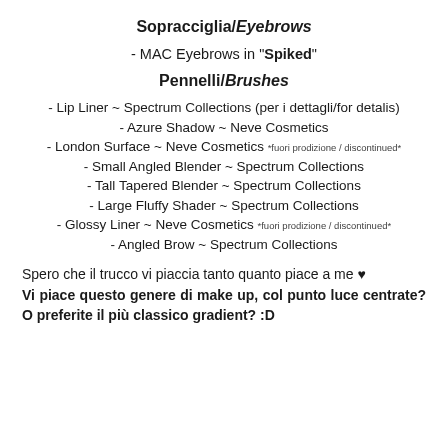Sopracciglia/Eyebrows
- MAC Eyebrows in "Spiked"
Pennelli/Brushes
- Lip Liner ~ Spectrum Collections (per i dettagli/for detalis)
- Azure Shadow ~ Neve Cosmetics
- London Surface ~ Neve Cosmetics *fuori prodizione / discontinued*
- Small Angled Blender ~ Spectrum Collections
- Tall Tapered Blender ~ Spectrum Collections
- Large Fluffy Shader ~ Spectrum Collections
- Glossy Liner ~ Neve Cosmetics *fuori prodizione / discontinued*
- Angled Brow ~ Spectrum Collections
Spero che il trucco vi piaccia tanto quanto piace a me ♥
Vi piace questo genere di make up, col punto luce centrate? O preferite il più classico gradient? :D